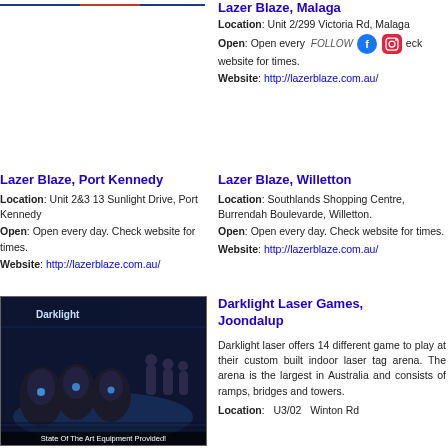[Figure (photo): Top partial image strip showing a colorful banner (blue and red tones) - cropped at top]
Lazer Blaze, Malaga
Location: Unit 2/299 Victoria Rd, Malaga
Open: Open every day. Check website for times.
Website: http://lazerblaze.com.au/
Lazer Blaze, Port Kennedy
Location: Unit 2&3 13 Sunlight Drive, Port Kennedy
Open: Open every day. Check website for times.
Website: http://lazerblaze.com.au/
Lazer Blaze, Willetton
Location: Southlands Shopping Centre, Burrendah Boulevarde, Willetton.
Open: Open every day. Check website for times.
Website: http://lazerblaze.com.au/
[Figure (photo): Interior photo of Darklight laser arena showing futuristic black equipment/guns with blue lighting. Caption reads: State Of The Art Equipment Provided!]
Darklight Laser Games, Joondalup
Darklight laser offers 14 different game to play at their custom built indoor laser tag arena. The arena is the largest in Australia and consists of ramps, bridges and towers.
Location: U3/02 Winton Rd